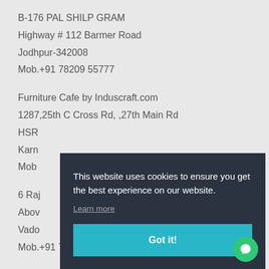B-176 PAL SHILP GRAM
Highway # 112 Barmer Road
Jodhpur-342008
Mob.+91 78209 55777
Furniture Cafe by Induscraft.com
1287,25th C Cross Rd, ,27th Main Rd
HSR...
Karn...
Mob...
6 Raj...
Abov...
Vado...
Mob.+91 7986777666
This website uses cookies to ensure you get the best experience on our website. Learn more Got it!